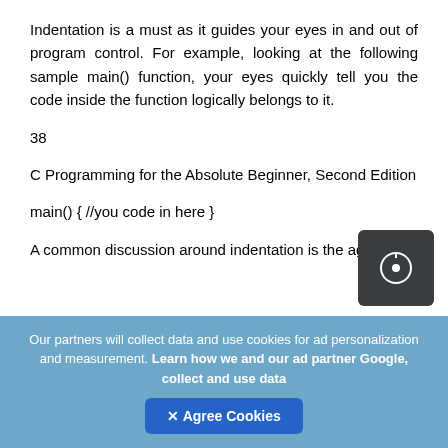Indentation is a must as it guides your eyes in and out of program control. For example, looking at the following sample main() function, your eyes quickly tell you the code inside the function logically belongs to it.
38
C Programming for the Absolute Beginner, Second Edition
main() { //you code in here }
A common discussion around indentation is the age
Our partners will collect data and use cookies for ad personalization and measurement. Learn how we and our ad partner Google, collect and use data